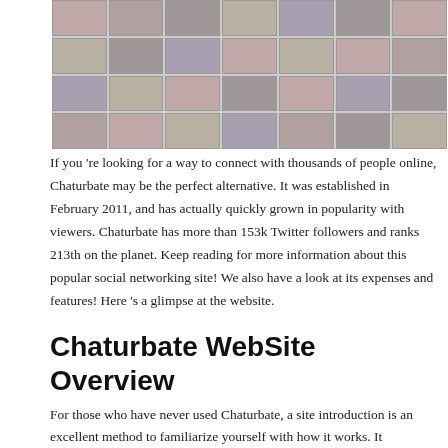[Figure (screenshot): Grid of thumbnail images from Chaturbate website showing various webcam streams in a 7-column, 4-row layout]
If you 're looking for a way to connect with thousands of people online, Chaturbate may be the perfect alternative. It was established in February 2011, and has actually quickly grown in popularity with viewers. Chaturbate has more than 153k Twitter followers and ranks 213th on the planet. Keep reading for more information about this popular social networking site! We also have a look at its expenses and features! Here 's a glimpse at the website.
Chaturbate WebSite Overview
For those who have never used Chaturbate, a site introduction is an excellent method to familiarize yourself with how it works. It